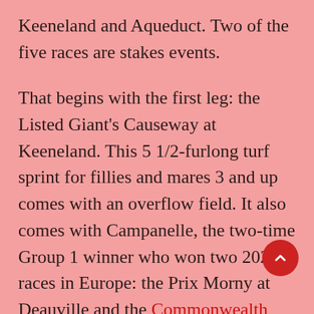Keeneland and Aqueduct. Two of the five races are stakes events.
That begins with the first leg: the Listed Giant's Causeway at Keeneland. This 5 1/2-furlong turf sprint for fillies and mares 3 and up comes with an overflow field. It also comes with Campanelle, the two-time Group 1 winner who won two 2021 races in Europe: the Prix Morny at Deauville and the Commonwealth Cup at Royal Ascot.
Wesley Ward's 4-year-old hasn't run since finishing third in the Grade 3 Franklin County at Keeneland last October. And her return won't be uncontested in